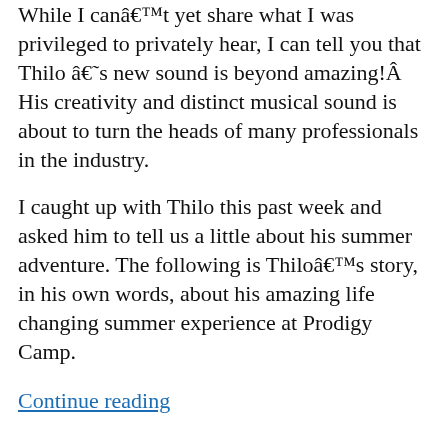While I canâ€™t yet share what I was privileged to privately hear, I can tell you that Thilo â€˜s new sound is beyond amazing!Â  His creativity and distinct musical sound is about to turn the heads of many professionals in the industry.
I caught up with Thilo this past week and asked him to tell us a little about his summer adventure. The following is Thiloâ€™s story, in his own words, about his amazing life changing summer experience at Prodigy Camp.
Continue reading
Rivenmaster / 18-01-2013 / Featured, Prodigy Camp, Thilo Berndt, Young Male Artists M-Z / boy, California,